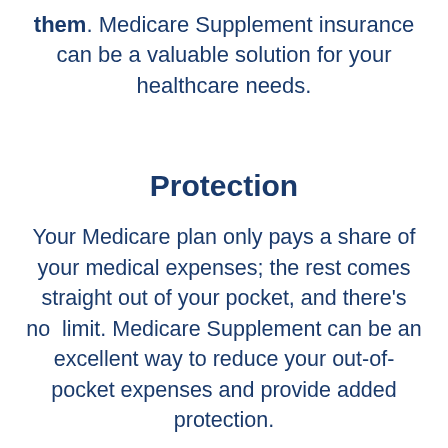them. Medicare Supplement insurance can be a valuable solution for your healthcare needs.
Protection
Your Medicare plan only pays a share of your medical expenses; the rest comes straight out of your pocket, and there’s no limit. Medicare Supplement can be an excellent way to reduce your out-of-pocket expenses and provide added protection.